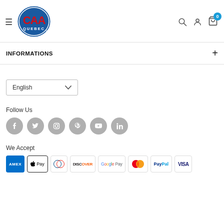[Figure (logo): CAA Quebec logo - red CAA letters on blue oval with QUEBEC text below]
INFORMATIONS
[Figure (other): English language selector dropdown]
Follow Us
[Figure (other): Social media icons: Facebook, Twitter, Instagram, Pinterest, YouTube, LinkedIn]
We Accept
[Figure (other): Payment method icons: Amex, Apple Pay, Diners Club, Discover, Google Pay, Mastercard, PayPal, Visa]